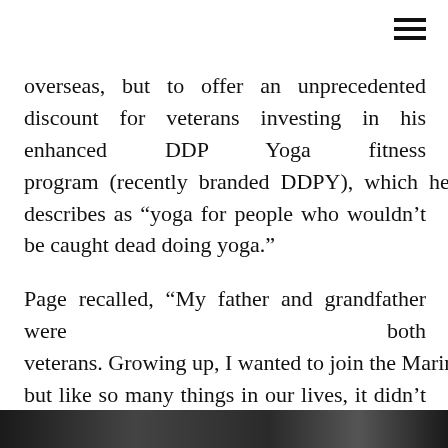overseas, but to offer an unprecedented discount for veterans investing in his enhanced DDP Yoga fitness program (recently branded DDPY), which he describes as “yoga for people who wouldn’t be caught dead doing yoga.”
Page recalled, “My father and grandfather were both veterans. Growing up, I wanted to join the Marines, but like so many things in our lives, it didn’t work out.” He added, “But when I later became involved in professional wrestling, it provided me with several opportuni­ties to
[Figure (photo): A dark image strip at the bottom of the page, partially visible, appears to show an outdoor scene.]